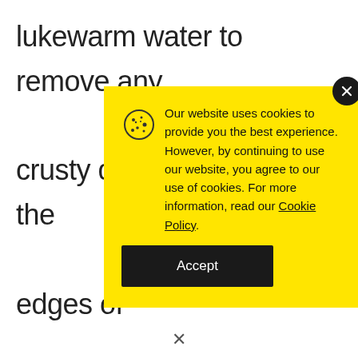lukewarm water to remove any crusty discharge and keep the edges of clean the peroxide How do RAW? In
Our website uses cookies to provide you the best experience. However, by continuing to use our website, you agree to our use of cookies. For more information, read our Cookie Policy.
Accept